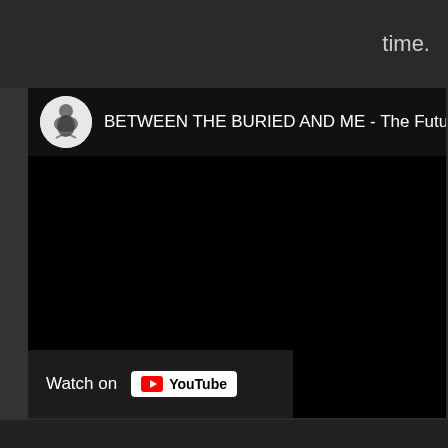time.
[Figure (screenshot): YouTube video embed showing 'BETWEEN THE BURIED AND ME - The Future' with a black video frame, channel icon (circular illustration of a figure), and a 'Watch on YouTube' button at the bottom left.]